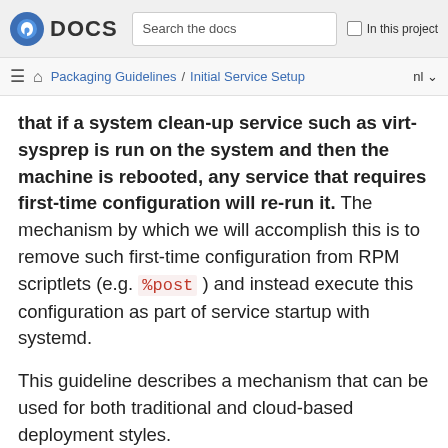Fedora DOCS | Search the docs | In this project
Packaging Guidelines / Initial Service Setup | nl
that if a system clean-up service such as virt-sysprep is run on the system and then the machine is rebooted, any service that requires first-time configuration will re-run it. The mechanism by which we will accomplish this is to remove such first-time configuration from RPM scriptlets (e.g. %post ) and instead execute this configuration as part of service startup with systemd.
This guideline describes a mechanism that can be used for both traditional and cloud-based deployment styles.